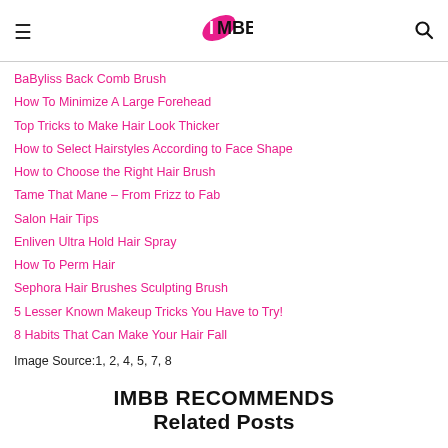IMBB (logo) navigation header
BaByliss Back Comb Brush
How To Minimize A Large Forehead
Top Tricks to Make Hair Look Thicker
How to Select Hairstyles According to Face Shape
How to Choose the Right Hair Brush
Tame That Mane – From Frizz to Fab
Salon Hair Tips
Enliven Ultra Hold Hair Spray
How To Perm Hair
Sephora Hair Brushes Sculpting Brush
5 Lesser Known Makeup Tricks You Have to Try!
8 Habits That Can Make Your Hair Fall
Image Source:1, 2, 4, 5, 7, 8
IMBB RECOMMENDS
Related Posts